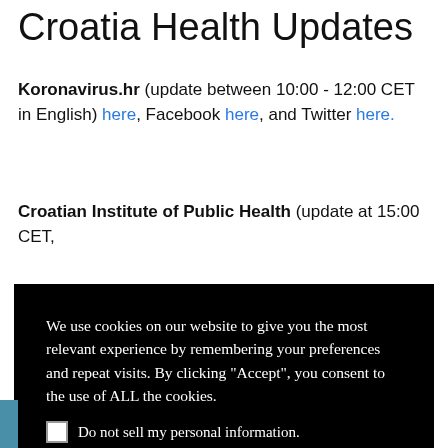Croatia Health Updates
Koronavirus.hr (update between 10:00 - 12:00 CET in English) here, Facebook here, and Twitter here.
Croatian Institute of Public Health (update at 15:00 CET,
We use cookies on our website to give you the most relevant experience by remembering your preferences and repeat visits. By clicking “Accept”, you consent to the use of ALL the cookies.
Do not sell my personal information.
Cookie settings  ACCEPT
Bars, night clubs, discos, restaurants and cafes may serve guests on open terraces. Restaurants and cafes may serve guests indoors with approval from the Civil Protection Headquarters. Stores and businesses must operate within prescribed capacities. Public events and gatherings of more than 100 people are prohibited